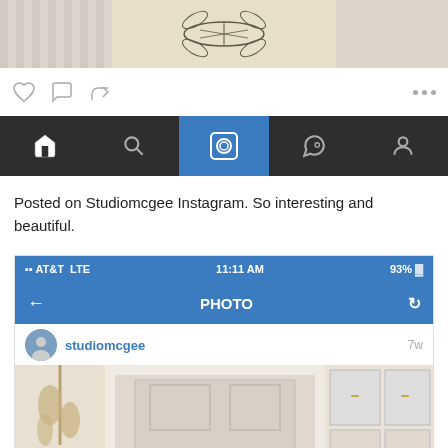[Figure (screenshot): Top portion of an Instagram post showing a decorative textile/rug with botanical leaf print design]
[Figure (screenshot): Instagram action bar with like (heart), comment (bubble), share (arrow) icons on left and more options (three dots) on right]
[Figure (screenshot): Instagram navigation bar with home, search, camera (active/highlighted in blue), heart, and profile icons]
Posted on Studiomcgee Instagram. So interesting and beautiful.
[Figure (screenshot): Instagram mobile app screenshot showing: status bar with AT&T LTE, 11:11 AM, 93% battery; PHOTO header bar with back arrow and refresh icon; studiomcgee profile row with avatar and 7w timestamp; bottom portion of interior design photo showing white kitchen/entry with chandelier and glass-front cabinets]